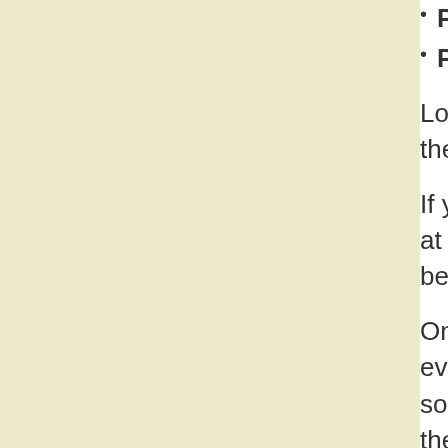Promotes Healthy DNA & RNA
Promotes Healthy Immune System
Lots of choices but a great place to start is the Ormus C11 Gold Infusion ormus.
If you are wanting top of the line potency look at the Ormus Manna-Festation as a choice for best of the best.
One of the reason for all the choices is that everybody is different and some things work for some but not others. We have added things to the ormus formulas to add more either to enhance it.
And of course the White Gold Powder for those who prefer that.
Ormus Minerals - Charged Ocean
Ormus Minerals - Complete Ba
Ormus Minerals - Dead Sea Sa Dew
Ormus Minerals - Gold C 11